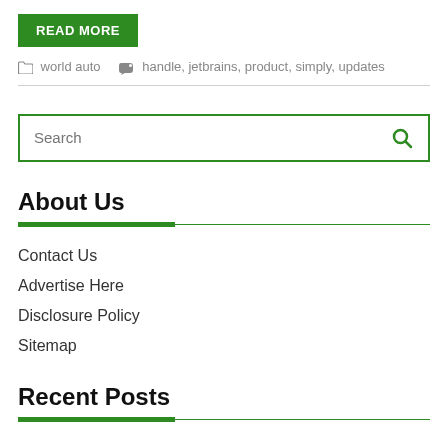READ MORE
world auto   handle, jetbrains, product, simply, updates
Search
About Us
Contact Us
Advertise Here
Disclosure Policy
Sitemap
Recent Posts